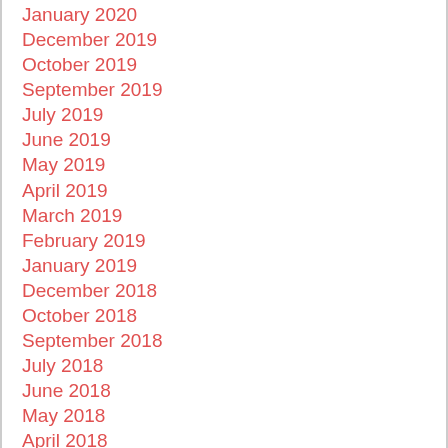January 2020
December 2019
October 2019
September 2019
July 2019
June 2019
May 2019
April 2019
March 2019
February 2019
January 2019
December 2018
October 2018
September 2018
July 2018
June 2018
May 2018
April 2018
March 2018
January 2018
November 2017